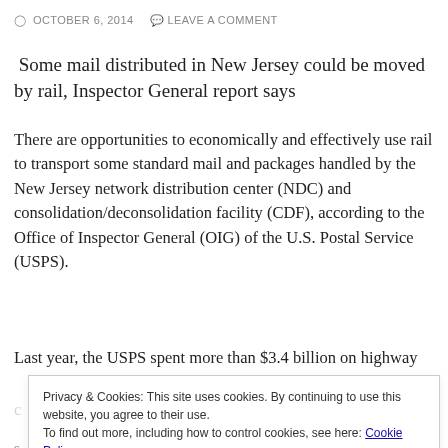OCTOBER 6, 2014   LEAVE A COMMENT
Some mail distributed in New Jersey could be moved by rail, Inspector General report says
There are opportunities to economically and effectively use rail to transport some standard mail and packages handled by the New Jersey network distribution center (NDC) and consolidation/deconsolidation facility (CDF), according to the Office of Inspector General (OIG) of the U.S. Postal Service (USPS).
Last year, the USPS spent more than $3.4 billion on highway
Privacy & Cookies: This site uses cookies. By continuing to use this website, you agree to their use.
To find out more, including how to control cookies, see here: Cookie Policy
[Close and accept]